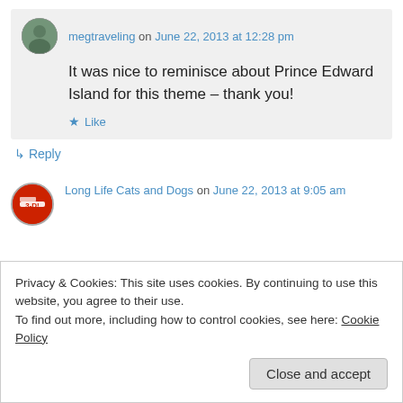[Figure (photo): Round avatar photo of megtraveling user showing a person outdoors]
megtraveling on June 22, 2013 at 12:28 pm
It was nice to reminisce about Prince Edward Island for this theme – thank you!
★ Like
↳ Reply
[Figure (logo): Red circular avatar with text for Long Life Cats and Dogs]
Long Life Cats and Dogs on June 22, 2013 at 9:05 am
Privacy & Cookies: This site uses cookies. By continuing to use this website, you agree to their use.
To find out more, including how to control cookies, see here: Cookie Policy
Close and accept